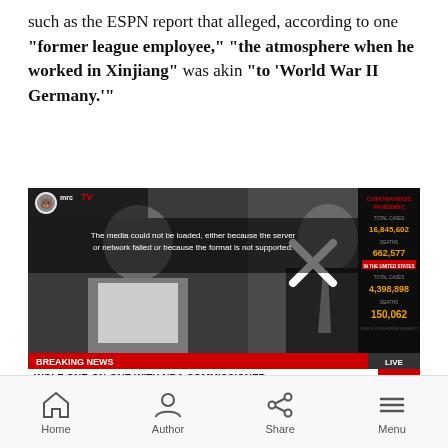such as the ESPN report that alleged, according to one "former league employee," "the atmosphere when he worked in Xinjiang" was akin "to 'World War II Germany.'"
[Figure (screenshot): CNN Breaking News screenshot showing 'WOLF ONE-ON-ONE WITH NBA COMMISSIONER' with two men on screen and COVID-19 statistics panel on the right. MrcTV logo visible. A media error message reads: 'The media could not be loaded, either because the server or network failed or because the format is not supported.' COVID stats show DEATHS 662,577 and IN THE UNITED STATES TOTAL CASES 4,398,898 DEATHS 150,062.]
Home  Author  Share  Menu